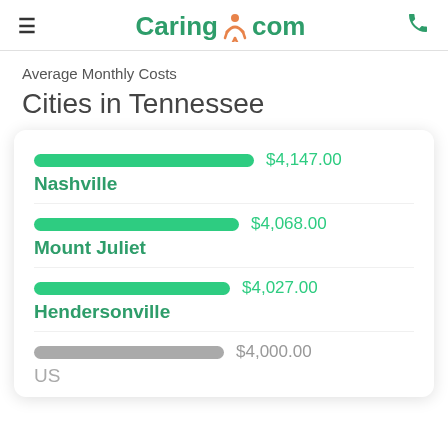Caring.com
Average Monthly Costs
Cities in Tennessee
[Figure (bar-chart): Average Monthly Costs - Cities in Tennessee]